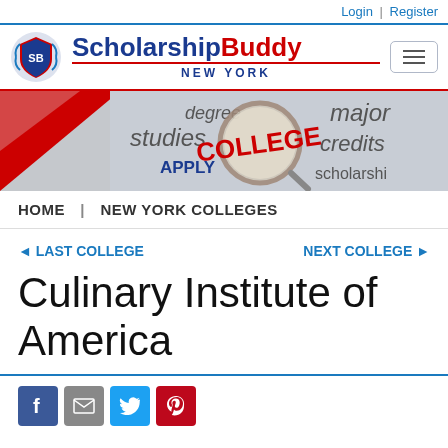Login | Register
[Figure (logo): ScholarshipBuddy New York logo with shield icon and hamburger menu button]
[Figure (illustration): Banner image showing college-related words: degree, studies, APPLY, COLLEGE (magnified), major, credits, scholarship]
HOME | NEW YORK COLLEGES
◄ LAST COLLEGE   NEXT COLLEGE ►
Culinary Institute of America
[Figure (other): Social sharing icons: Facebook, Email, Twitter, Pinterest]